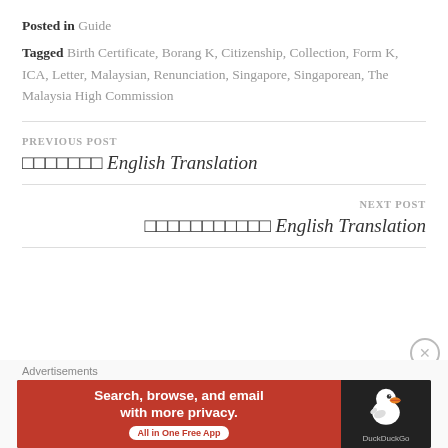Posted in Guide
Tagged Birth Certificate, Borang K, Citizenship, Collection, Form K, ICA, Letter, Malaysian, Renunciation, Singapore, Singaporean, The Malaysia High Commission
PREVIOUS POST
□□□□□□□ English Translation
NEXT POST
□□□□□□□□□□□ English Translation
Advertisements
[Figure (screenshot): DuckDuckGo advertisement banner: 'Search, browse, and email with more privacy. All in One Free App' with DuckDuckGo logo on dark background]